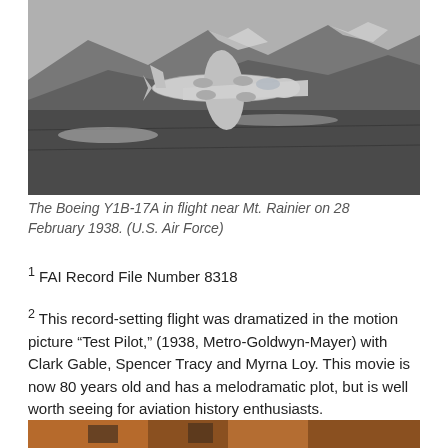[Figure (photo): Black and white photograph of the Boeing Y1B-17A aircraft in flight near Mt. Rainier, showing mountainous terrain below and clouds in the background.]
The Boeing Y1B-17A in flight near Mt. Rainier on 28 February 1938. (U.S. Air Force)
1 FAI Record File Number 8318
2 This record-setting flight was dramatized in the motion picture “Test Pilot,” (1938, Metro-Goldwyn-Mayer) with Clark Gable, Spencer Tracy and Myrna Loy. This movie is now 80 years old and has a melodramatic plot, but is well worth seeing for aviation history enthusiasts.
[Figure (photo): Partial view of a second photograph at the bottom of the page, showing a warm orange/amber toned image (cropped).]